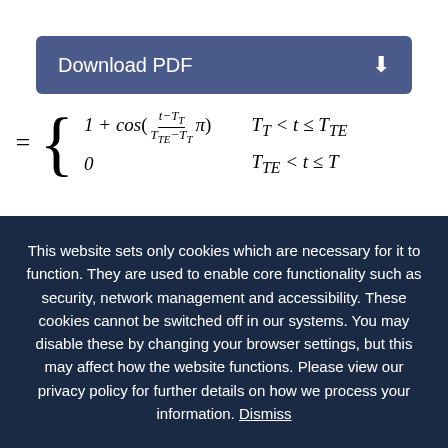Download PDF
T is the duration of the ECG signal (heart period), T_TE is the end of ventricular systole and T_T is the T-wave peak time [15, 16].
This website sets only cookies which are necessary for it to function. They are used to enable core functionality such as security, network management and accessibility. These cookies cannot be switched off in our systems. You may disable these by changing your browser settings, but this may affect how the website functions. Please view our privacy policy for further details on how we process your information. Dismiss